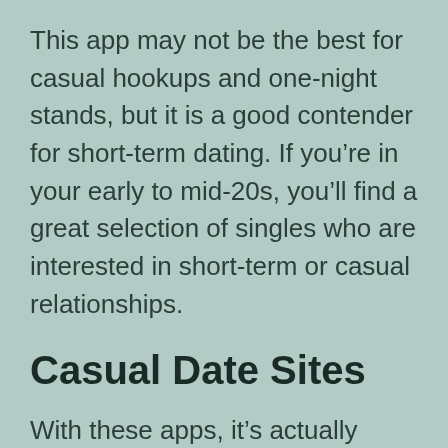This app may not be the best for casual hookups and one-night stands, but it is a good contender for short-term dating. If you're in your early to mid-20s, you'll find a great selection of singles who are interested in short-term or casual relationships.
Casual Date Sites
With these apps, it's actually pretty simple, though finding someone who is down to hook up might seem intimidating. There's no need to fret if you don't know much about online hookups. The choices we've reviewed over are